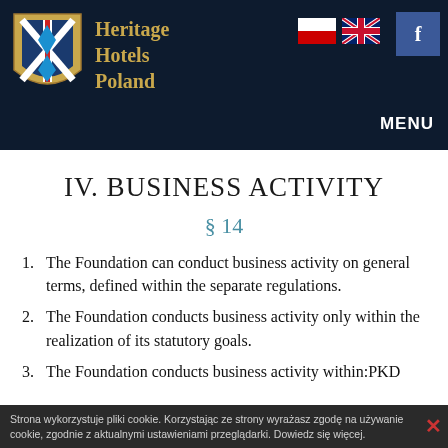[Figure (logo): Heritage Hotels Poland logo with gold shield and brand name, Polish and UK flags, Facebook button, and MENU label on dark navy header]
IV. BUSINESS ACTIVITY
§ 14
1. The Foundation can conduct business activity on general terms, defined within the separate regulations.
2. The Foundation conducts business activity only within the realization of its statutory goals.
3. The Foundation conducts business activity within:PKD
Strona wykorzystuje pliki cookie. Korzystając ze strony wyrażasz zgodę na używanie cookie, zgodnie z aktualnymi ustawieniami przeglądarki. Dowiedz się więcej.